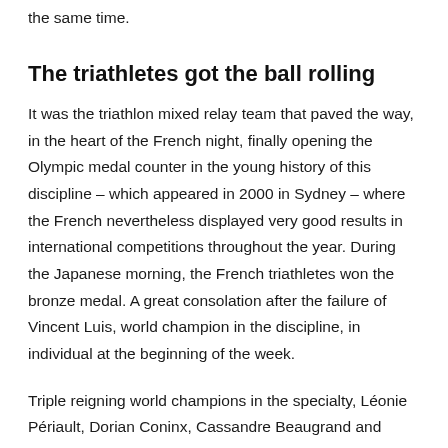the same time.
The triathletes got the ball rolling
It was the triathlon mixed relay team that paved the way, in the heart of the French night, finally opening the Olympic medal counter in the young history of this discipline – which appeared in 2000 in Sydney – where the French nevertheless displayed very good results in international competitions throughout the year. During the Japanese morning, the French triathletes won the bronze medal. A great consolation after the failure of Vincent Luis, world champion in the discipline, in individual at the beginning of the week.
Triple reigning world champions in the specialty, Léonie Périault, Dorian Coninx, Cassandre Beaugrand and Vincent Luis finished behind Great Britain (1st) and the United States (2nd) in this new format at the Olympics, which had a complete of trouble...